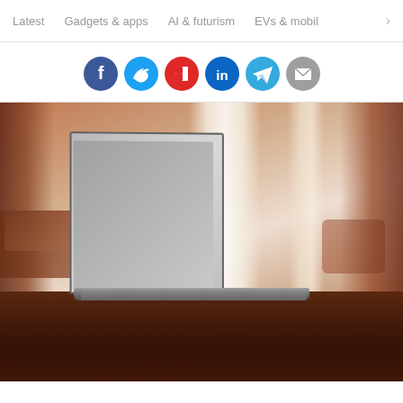Latest  Gadgets & apps  AI & futurism  EVs & mobil >
[Figure (infographic): Row of social media share buttons: Facebook (blue), Twitter (blue), Flipboard (red), LinkedIn (dark blue), Telegram (light blue), Email (grey)]
[Figure (photo): A laptop computer open on a dark wooden desk in a hotel or living room, with blurred warm curtains and window light in the background]